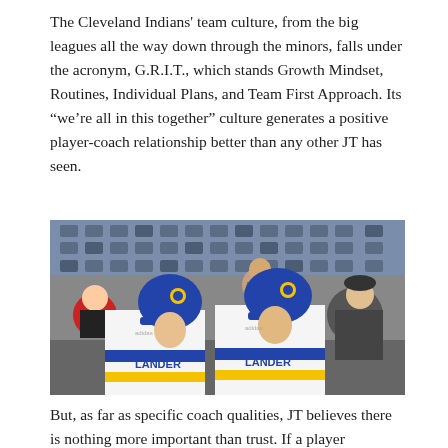The Cleveland Indians' team culture, from the big leagues all the way down through the minors, falls under the acronym, G.R.I.T., which stands Growth Mindset, Routines, Individual Plans, and Team First Approach. Its “we’re all in this together” culture generates a positive player-coach relationship better than any other JT has seen.
[Figure (photo): Two baseball players in blue and gold Lander uniforms and blue batting helmets standing together, with stadium seats and spectators in the background. Another player visible on the right side in a dark uniform.]
But, as far as specific coach qualities, JT believes there is nothing more important than trust. If a player